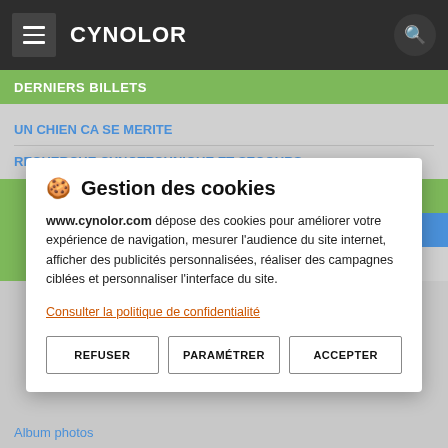CYNOLOR
DERNIERS BILLETS
UN CHIEN CA SE MERITE
RECHERCHE CYNOTECHNIQUE ET SECOURS
🍪 Gestion des cookies
www.cynolor.com dépose des cookies pour améliorer votre expérience de navigation, mesurer l'audience du site internet, afficher des publicités personnalisées, réaliser des campagnes ciblées et personnaliser l'interface du site.
Consulter la politique de confidentialité
REFUSER
PARAMÉTRER
ACCEPTER
Album photos